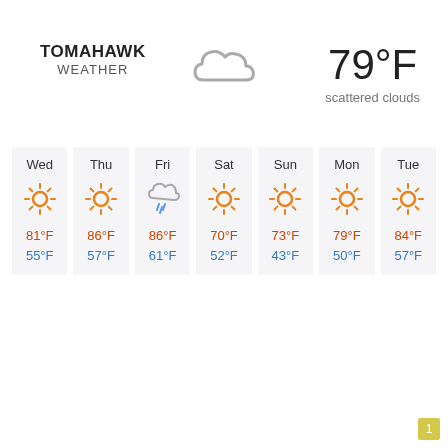TOMAHAWK WEATHER
[Figure (illustration): Cloud icon representing scattered clouds]
79°F scattered clouds
| Wed | Thu | Fri | Sat | Sun | Mon | Tue |
| --- | --- | --- | --- | --- | --- | --- |
| ☀ | ☀ | 🌧 | ☀ | ☀ | ☀ | ☀ |
| 81°F / 55°F | 86°F / 57°F | 86°F / 61°F | 70°F / 52°F | 73°F / 43°F | 79°F / 50°F | 84°F / 57°F |
1